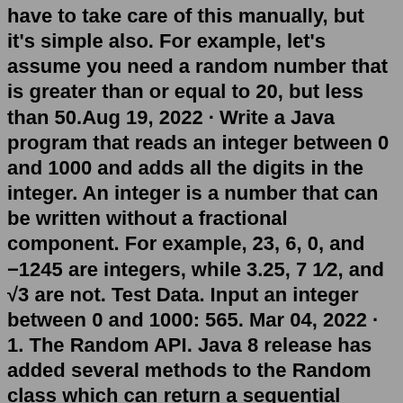have to take care of this manually, but it's simple also. For example, let's assume you need a random number that is greater than or equal to 20, but less than 50.Aug 19, 2022 · Write a Java program that reads an integer between 0 and 1000 and adds all the digits in the integer. An integer is a number that can be written without a fractional component. For example, 23, 6, 0, and −1245 are integers, while 3.25, 7 1⁄2, and √3 are not. Test Data. Input an integer between 0 and 1000: 565. Mar 04, 2022 · 1. The Random API. Java 8 release has added several methods to the Random class which can return a sequential stream of random numbers (integers, longs and doubles). The most widely used methods are: IntStream ints() LongStream longs() DoubleStream doubles() All of the above methods have their overloaded forms. You can use the random_int() function to generate 2,4,6,10, digit unique random number in PHP Laravel. First of all, you need to know about php random_int() function. As shown following: rand_int() function. The PHP random_int() is inbuilt